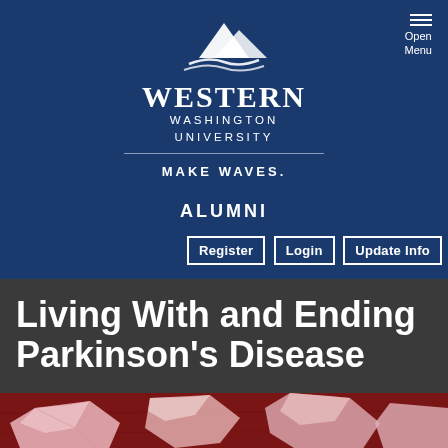[Figure (logo): Western Washington University logo with mountain/wave graphic and text 'Western Washington University - Make Waves.']
ALUMNI
Register | Login | Update Info
Living With and Ending Parkinson's Disease
[Figure (photo): Photo of crumpled pink/red paper pieces scattered on a dark red wooden surface]